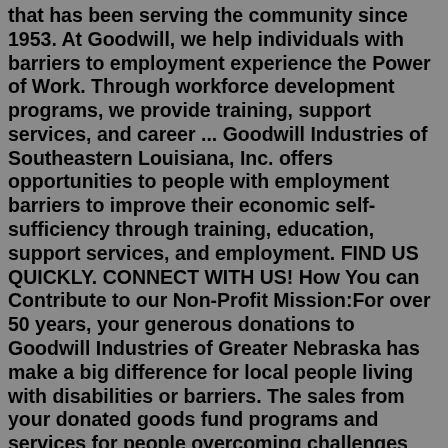that has been serving the community since 1953. At Goodwill, we help individuals with barriers to employment experience the Power of Work. Through workforce development programs, we provide training, support services, and career ... Goodwill Industries of Southeastern Louisiana, Inc. offers opportunities to people with employment barriers to improve their economic self-sufficiency through training, education, support services, and employment. FIND US QUICKLY. CONNECT WITH US! How You can Contribute to our Non-Profit Mission:For over 50 years, your generous donations to Goodwill Industries of Greater Nebraska has make a big difference for local people living with disabilities or barriers. The sales from your donated goods fund programs and services for people overcoming challenges like mental illness, substance use disorder, a brain injury, homelessness, former incarceration, lack of job skills or an intellectual ...We would like to show you a description here but the site won't allow us. Welcome to Goodwill Industries of